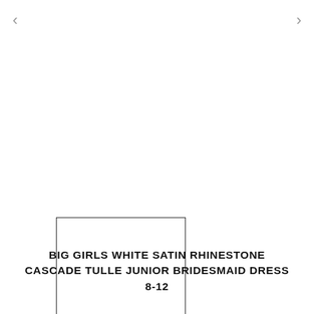[Figure (other): Navigation arrow pointing left]
[Figure (other): Navigation arrow pointing right]
[Figure (other): Empty white rectangle with black border, placeholder for product image thumbnail]
BIG GIRLS WHITE SATIN RHINESTONE CASCADE TULLE JUNIOR BRIDESMAID DRESS 8-12